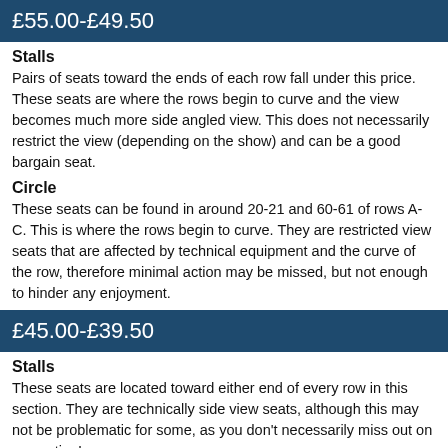£55.00-£49.50
Stalls
Pairs of seats toward the ends of each row fall under this price. These seats are where the rows begin to curve and the view becomes much more side angled view. This does not necessarily restrict the view (depending on the show) and can be a good bargain seat.
Circle
These seats can be found in around 20-21 and 60-61 of rows A-C. This is where the rows begin to curve. They are restricted view seats that are affected by technical equipment and the curve of the row, therefore minimal action may be missed, but not enough to hinder any enjoyment.
£45.00-£39.50
Stalls
These seats are located toward either end of every row in this section. They are technically side view seats, although this may not be problematic for some, as you don't necessarily miss out on any action!
Circle
These seats are located in the side blocks of seating and are restricted